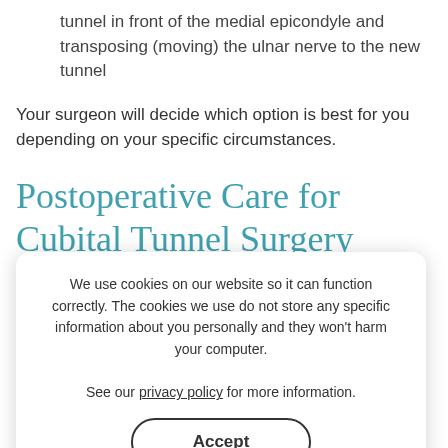tunnel in front of the medial epicondyle and transposing (moving) the ulnar nerve to the new tunnel
Your surgeon will decide which option is best for you depending on your specific circumstances.
Postoperative Care for Cubital Tunnel Surgery
After surgery, your surgeon will give you guidelines to follow depending on the type of repair performed. Common postoperative procedures include:
A bulky dressing is generally applied following surgery for 10-14 days.
Elevating the arm above heart level and moving the
We use cookies on our website so it can function correctly. The cookies we use do not store any specific information about you personally and they won't harm your computer.
See our privacy policy for more information.